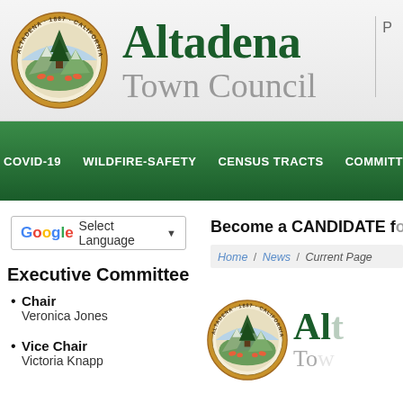[Figure (logo): Altadena Town Council seal/logo with circular emblem showing tree and mountains, gold border, text 'ALTADENA 1887 CALIFORNIA']
Altadena Town Council
P
[Figure (screenshot): Green navigation bar with menu items: COVID-19, WILDFIRE-SAFETY, CENSUS TRACTS, COMMITTEES]
[Figure (other): Google Translate Select Language widget with dropdown arrow]
Become a CANDIDATE f...
Home / News / Current Page
Executive Committee
Chair
Veronica Jones
Vice Chair
Victoria Knapp
[Figure (logo): Altadena Town Council seal and partial name logo repeated at bottom right]